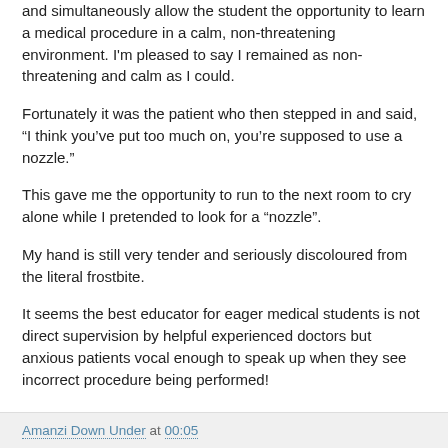and simultaneously allow the student the opportunity to learn a medical procedure in a calm, non-threatening environment. I'm pleased to say I remained as non-threatening and calm as I could.
Fortunately it was the patient who then stepped in and said, “I think you’ve put too much on, you’re supposed to use a nozzle.”
This gave me the opportunity to run to the next room to cry alone while I pretended to look for a “nozzle”.
My hand is still very tender and seriously discoloured from the literal frostbite.
It seems the best educator for eager medical students is not direct supervision by helpful experienced doctors but anxious patients vocal enough to speak up when they see incorrect procedure being performed!
Amanzi Down Under at 00:05